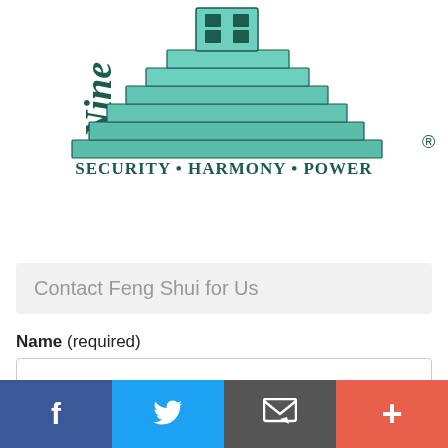[Figure (logo): Nine Shui logo with teal stepped pyramid/pagoda structure and a door at the top, with 'Nine' vertically on the left and 'Shui' vertically on the right, and 'Security • Harmony • Power ®' below in dark teal serif font]
Contact Feng Shui for Us
Name (required)
[Figure (other): Social share bar with four buttons: Facebook (blue), Twitter (light blue), Email/envelope (dark gray), and Plus/more (coral red)]